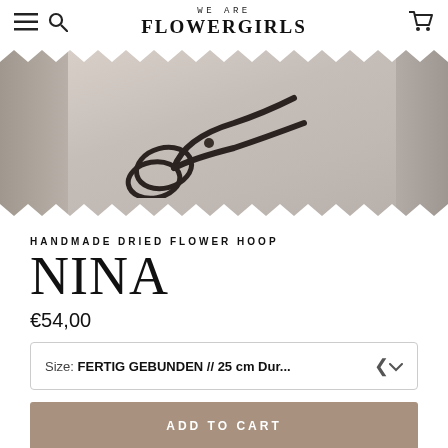WE ARE FLOWERGIRLS
[Figure (photo): Close-up photo of vintage black scissors resting on crumpled white linen fabric, with side panels showing blurred floral details]
HANDMADE DRIED FLOWER HOOP
NINA
€54,00
Size: FERTIG GEBUNDEN // 25 cm Dur...
ADD TO CART